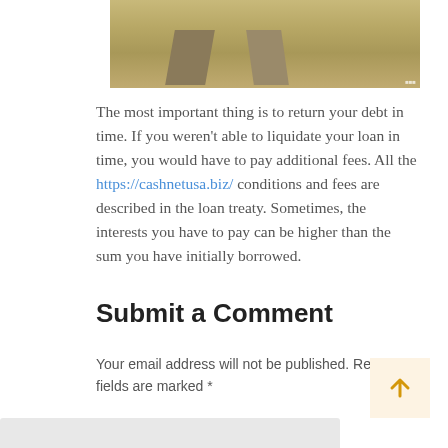[Figure (photo): Partial photo of a yard or outdoor area with dry grass and a concrete path visible at the top of the page.]
The most important thing is to return your debt in time. If you weren't able to liquidate your loan in time, you would have to pay additional fees. All the https://cashnetusa.biz/ conditions and fees are described in the loan treaty. Sometimes, the interests you have to pay can be higher than the sum you have initially borrowed.
Submit a Comment
Your email address will not be published. Required fields are marked *